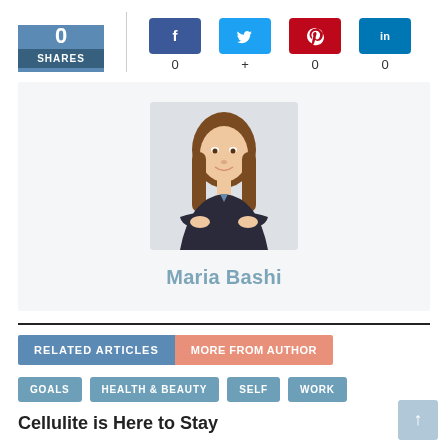[Figure (infographic): Share count box showing 0 SHARES with social media icons (Facebook, Twitter, Pinterest, LinkedIn) each showing count 0, +, 0, 0]
[Figure (photo): Author profile photo of Maria Bashi, a woman with long hair wearing a dark blazer with arms crossed]
Maria Bashi
RELATED ARTICLES   MORE FROM AUTHOR
GOALS   HEALTH & BEAUTY   SELF   WORK
Cellulite is Here to Stay